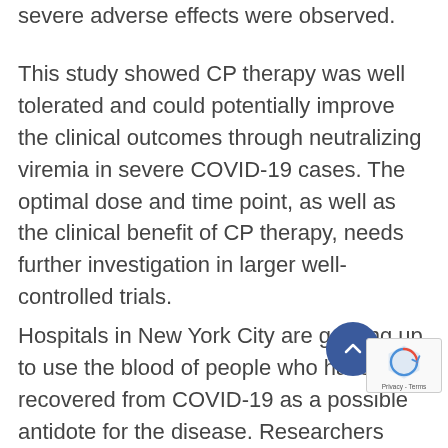severe adverse effects were observed.
This study showed CP therapy was well tolerated and could potentially improve the clinical outcomes through neutralizing viremia in severe COVID-19 cases. The optimal dose and time point, as well as the clinical benefit of CP therapy, needs further investigation in larger well-controlled trials.
Hospitals in New York City are gearing up to use the blood of people who have recovered from COVID-19 as a possible antidote for the disease. Researchers hope that the century-old approach of infusing patients with the antibody-la... blood of those who have survived an infectio... will help the metropolis — now the US epicentre